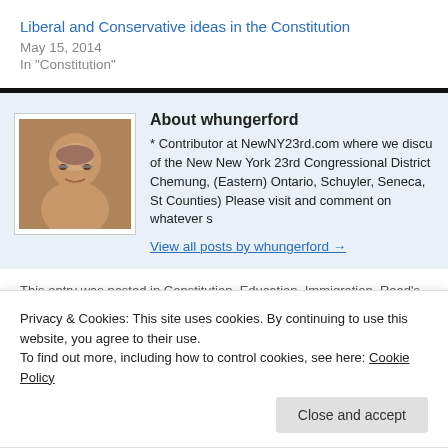Liberal and Conservative ideas in the Constitution
May 15, 2014
In "Constitution"
[Figure (photo): Headshot photo of whungerford, an older bald man with glasses]
About whungerford
* Contributor at NewNY23rd.com where we discuss of the New New York 23rd Congressional District Chemung, (Eastern) Ontario, Schuyler, Seneca, St Counties) Please visit and comment on whatever s
View all posts by whungerford →
This entry was posted in Constitution, Education, Immigration, Reed's Views,
Privacy & Cookies: This site uses cookies. By continuing to use this website, you agree to their use.
To find out more, including how to control cookies, see here: Cookie Policy
Close and accept